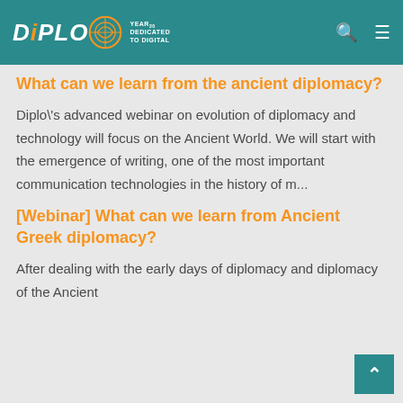DiPLO — Year Dedicated to Digital
What can we learn from the ancient diplomacy?
Diplo\'s advanced webinar on evolution of diplomacy and technology will focus on the Ancient World. We will start with the emergence of writing, one of the most important communication technologies in the history of m...
[Webinar] What can we learn from Ancient Greek diplomacy?
After dealing with the early days of diplomacy and diplomacy of the Ancient